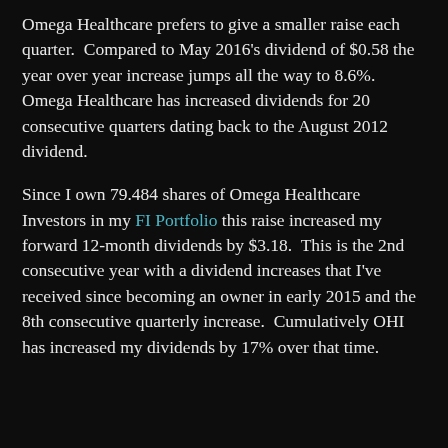Omega Healthcare prefers to give a smaller raise each quarter.  Compared to May 2016's dividend of $0.58 the year over year increase jumps all the way to 8.6%.  Omega Healthcare has increased dividends for 20 consecutive quarters dating back to the August 2012 dividend.
Since I own 79.484 shares of Omega Healthcare Investors in my FI Portfolio this raise increased my forward 12-month dividends by $3.18.  This is the 2nd consecutive year with a dividend increases that I've received since becoming an owner in early 2015 and the 8th consecutive quarterly increase.  Cumulatively OHI has increased my dividends by 17% over that time.